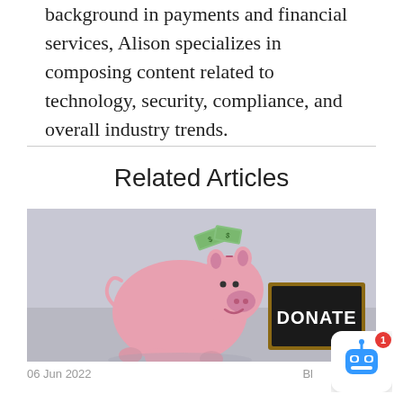background in payments and financial services, Alison specializes in composing content related to technology, security, compliance, and overall industry trends.
Related Articles
[Figure (photo): A pink ceramic piggy bank with dollar bills going into the top slot, next to a small chalkboard sign that reads DONATE, on a light grey surface.]
06 Jun 2022   Bl